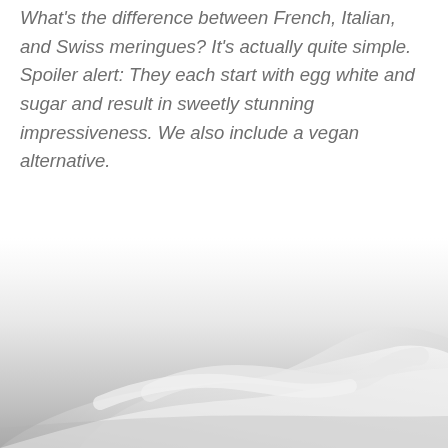What's the difference between French, Italian, and Swiss meringues? It's actually quite simple. Spoiler alert: They each start with egg white and sugar and result in sweetly stunning impressiveness. We also include a vegan alternative.
[Figure (photo): Close-up photo of white meringue swirls with a soft, silky texture against a white background, showing smooth flowing curves of whipped meringue.]